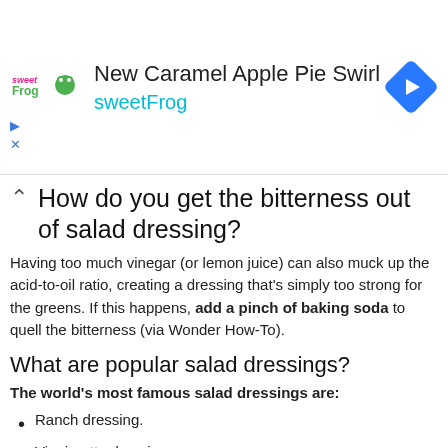[Figure (screenshot): SweetFrog advertisement banner with logo, 'New Caramel Apple Pie Swirl' title, 'sweetFrog' subtitle in cyan, navigation diamond icon, and play/close controls]
How do you get the bitterness out of salad dressing?
Having too much vinegar (or lemon juice) can also muck up the acid-to-oil ratio, creating a dressing that's simply too strong for the greens. If this happens, add a pinch of baking soda to quell the bitterness (via Wonder How-To).
What are popular salad dressings?
The world's most famous salad dressings are:
Ranch dressing.
Vinaigrette dressing.